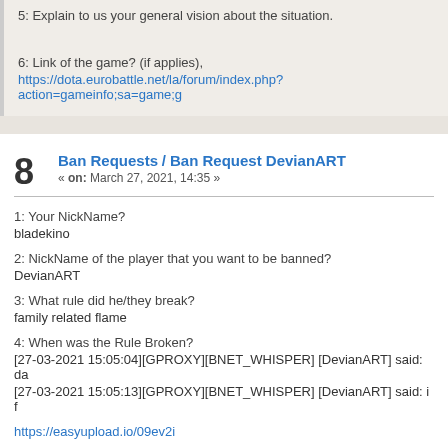5: Explain to us your general vision about the situation.
6: Link of the game? (if applies),
https://dota.eurobattle.net/la/forum/index.php?action=gameinfo;sa=game;g
8  Ban Requests / Ban Request DevianART
« on: March 27, 2021, 14:35 »
1: Your NickName?
bladekino
2: NickName of the player that you want to be banned?
DevianART
3: What rule did he/they break?
family related flame
4: When was the Rule Broken?
[27-03-2021 15:05:04][GPROXY][BNET_WHISPER] [DevianART] said: da
[27-03-2021 15:05:13][GPROXY][BNET_WHISPER] [DevianART] said: i f
https://easyupload.io/09ev2i
5: Explain to us your general vision about the situation.